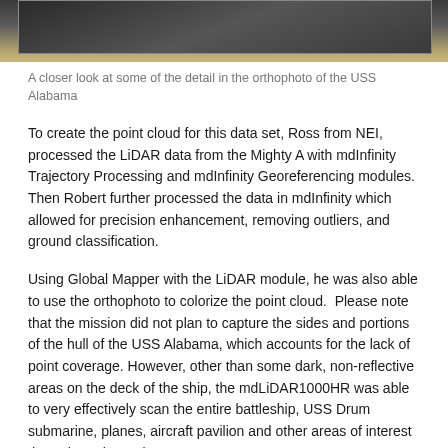[Figure (photo): Top portion of an orthophoto image of the USS Alabama, showing a close-up aerial/overhead view of the battleship, with dark tones and a tan/gold border at the bottom.]
A closer look at some of the detail in the orthophoto of the USS Alabama
To create the point cloud for this data set, Ross from NEI, processed the LiDAR data from the Mighty A with mdInfinity Trajectory Processing and mdInfinity Georeferencing modules. Then Robert further processed the data in mdInfinity which allowed for precision enhancement, removing outliers, and ground classification.
Using Global Mapper with the LiDAR module, he was also able to use the orthophoto to colorize the point cloud.  Please note that the mission did not plan to capture the sides and portions of the hull of the USS Alabama, which accounts for the lack of point coverage. However, other than some dark, non-reflective areas on the deck of the ship, the mdLiDAR1000HR was able to very effectively scan the entire battleship, USS Drum submarine, planes, aircraft pavilion and other areas of interest throughout the park.